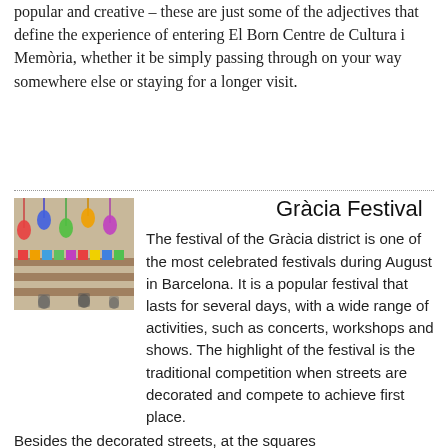popular and creative – these are just some of the adjectives that define the experience of entering El Born Centre de Cultura i Memòria, whether it be simply passing through on your way somewhere else or staying for a longer visit.
Gràcia Festival
[Figure (photo): Photo of a colorful market or festival stall with hanging decorations and merchandise on display]
The festival of the Gràcia district is one of the most celebrated festivals during August in Barcelona. It is a popular festival that lasts for several days, with a wide range of activities, such as concerts, workshops and shows. The highlight of the festival is the traditional competition when streets are decorated and compete to achieve first place.
Besides the decorated streets, at the squares